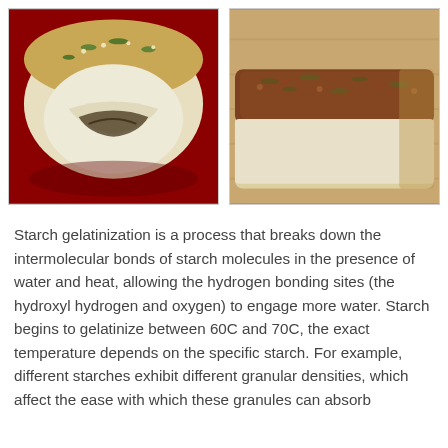[Figure (photo): Two food photos side by side: left shows a sliced bread roll with sesame seeds and green herbs on top, with a dark filling visible inside, placed on a red plate; right shows a close-up of a baked bread/pastry topped with brown crumbly topping and green herbs.]
Starch gelatinization is a process that breaks down the intermolecular bonds of starch molecules in the presence of water and heat, allowing the hydrogen bonding sites (the hydroxyl hydrogen and oxygen) to engage more water. Starch begins to gelatinize between 60C and 70C, the exact temperature depends on the specific starch. For example, different starches exhibit different granular densities, which affect the ease with which these granules can absorb